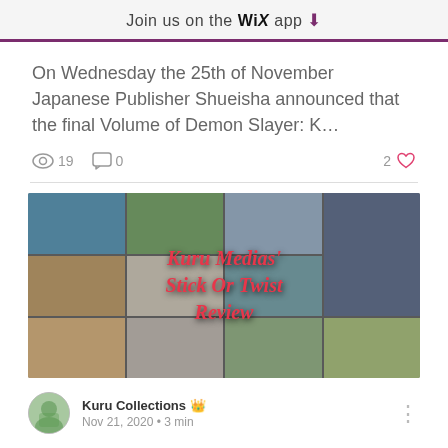Join us on the WiX app
On Wednesday the 25th of November Japanese Publisher Shueisha announced that the final Volume of Demon Slayer: K...
19 views  0 comments  2 likes
[Figure (illustration): Collage of anime images with text overlay reading 'Kuru Medias' Stick Or Twist Review']
Kuru Collections 👑
Nov 21, 2020 · 3 min